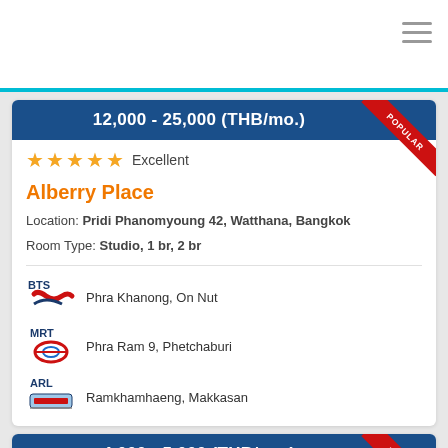12,000 - 25,000 (THB/mo.)
★★★★★ Excellent
Alberry Place
Location: Pridi Phanomyoung 42, Watthana, Bangkok
Room Type: Studio, 1 br, 2 br
BTS - Phra Khanong, On Nut
MRT - Phra Ram 9, Phetchaburi
ARL - Ramkhamhaeng, Makkasan
4,000 - 5,000 (THB/mo.)